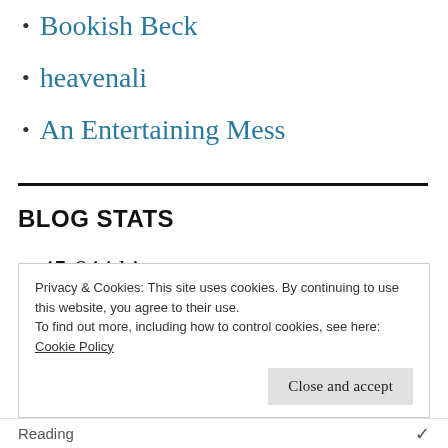Bookish Beck
heavenali
An Entertaining Mess
BLOG STATS
45,644 hits
Privacy & Cookies: This site uses cookies. By continuing to use this website, you agree to their use.
To find out more, including how to control cookies, see here:
Cookie Policy
Reading